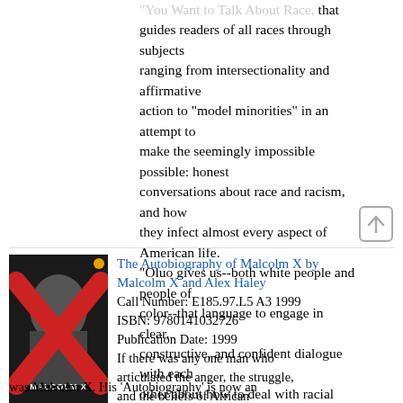guides readers of all races through subjects ranging from intersectionality and affirmative action to "model minorities" in an attempt to make the seemingly impossible possible: honest conversations about race and racism, and how they infect almost every aspect of American life. "Oluo gives us--both white people and people of color--that language to engage in clear, constructive, and confident dialogue with each other about how to deal with racial prejudices and biases." --National Book Review "Generous and empathetic, yet usefully blunt . . . it's for anyone who wants to be smarter and more empathetic about matters of race and engage in more productive anti-racist action." --Salon
[Figure (photo): Book cover of The Autobiography of Malcolm X showing a man's face with a large red X across it and the text MALCOLM X]
The Autobiography of Malcolm X by Malcolm X and Alex Haley
Call Number: E185.97.L5 A3 1999
ISBN: 9780141032726
Publication Date: 1999
If there was any one man who articulated the anger, the struggle, and the beliefs of African Americans in the 1960s, that man was Malcolm X. His 'Autobiography' is now an